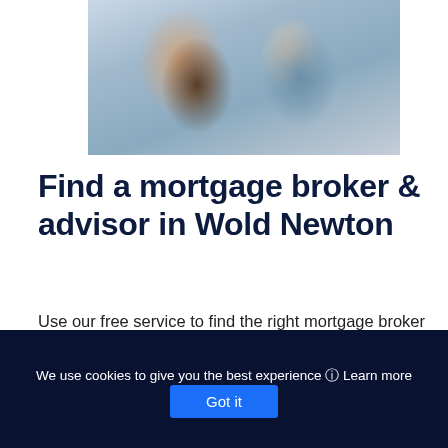[Figure (photo): Photo of a couple smiling, holding house keys, with moving boxes in background. The woman wears a plaid shirt and the man wears a blue denim jacket.]
Find a mortgage broker & advisor in Wold Newton
Use our free service to find the right mortgage broker for you in Wold Newton
Find a mortgage advisor
We use cookies to give you the best experience ⓘ Learn more
Got it